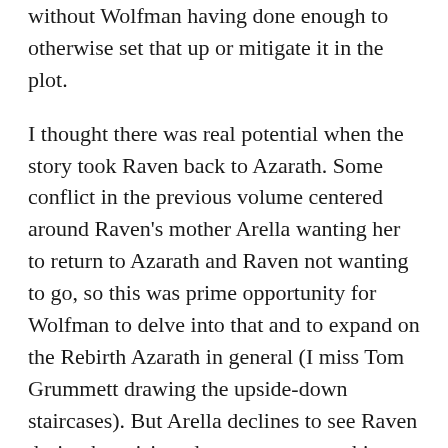without Wolfman having done enough to otherwise set that up or mitigate it in the plot.
I thought there was real potential when the story took Raven back to Azarath. Some conflict in the previous volume centered around Raven's mother Arella wanting her to return to Azarath and Raven not wanting to go, so this was prime opportunity for Wolfman to delve into that and to expand on the Rebirth Azarath in general (I miss Tom Grummett drawing the upside-down staircases). But Arella declines to see Raven during her visit and so any peace-making on that account is left unresolved. This feels like Wolfman charting a path toward some resolution, and I wonder if we'd have seen Azarath more if Wolfman got another miniseries.
I guess it makes Daughter of Darkness seem less like two distinct halves and more like one whole story in that Violet, Raven's remaining half-sister from the first chapters, appears again here and plays a role in the conclusion (see also 1906 San Francisco). This felt clunky, though, as I alluded; in the final chapter, Raven "suddenly remembers" Violet long enough to obviously bring her back to reader memory before she's taken over by the Shadow-Riders and killed. It felt like unsubtle